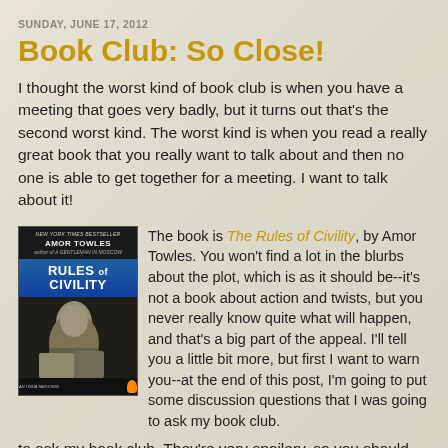SUNDAY, JUNE 17, 2012
Book Club: So Close!
I thought the worst kind of book club is when you have a meeting that goes very badly, but it turns out that's the second worst kind.  The worst kind is when you read a really great book that you really want to talk about and then no one is able to get together for a meeting.  I want to talk about it!
[Figure (photo): Book cover of Rules of Civility by Amor Towles — black and white photo of a woman reclining, with blue title band]
The book is The Rules of Civility, by Amor Towles. You won't find a lot in the blurbs about the plot, which is as it should be--it's not a book about action and twists, but you never really know quite what will happen, and that's a big part of the appeal.  I'll tell you a little bit more, but first I want to warn you--at the end of this post, I'm going to put some discussion questions that I was going to ask my book club.  They're very spoilery, so you should not read all the way through if you're ever going to read the